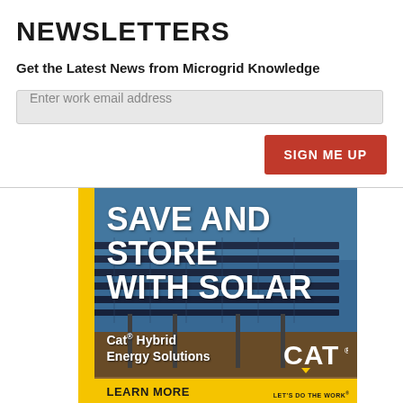NEWSLETTERS
Get the Latest News from Microgrid Knowledge
Enter work email address
SIGN ME UP
[Figure (photo): Caterpillar advertisement showing solar panels with text: SAVE AND STORE WITH SOLAR, Cat Hybrid Energy Solutions, CAT logo, LEARN MORE button, LET'S DO THE WORK tagline]